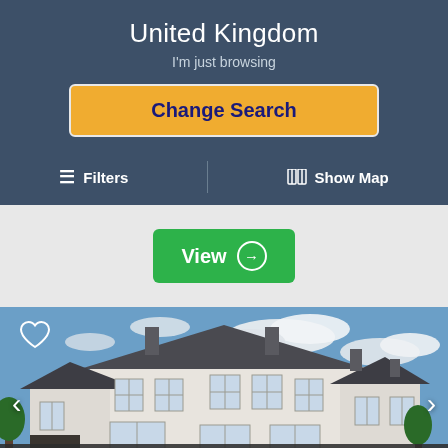United Kingdom
I'm just browsing
Change Search
≡ Filters
⊞ Show Map
[Figure (screenshot): Gray banner area with a green View button with arrow circle]
[Figure (photo): Photograph of a large white stone UK house with slate roof, chimneys, multiple windows, blue sky with clouds]
This website uses cookies. Click here to read our Privacy Policy. If that's okay with you, just keep browsing. CLOSE